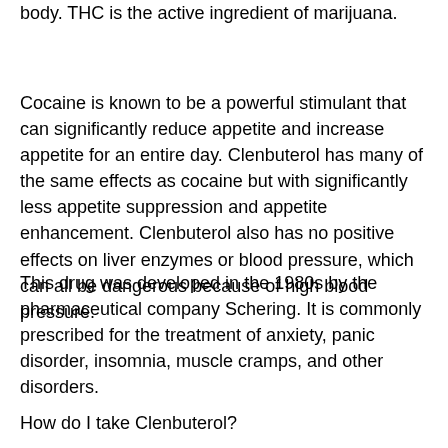body. THC is the active ingredient of marijuana.
Cocaine is known to be a powerful stimulant that can significantly reduce appetite and increase appetite for an entire day. Clenbuterol has many of the same effects as cocaine but with significantly less appetite suppression and appetite enhancement. Clenbuterol also has no positive effects on liver enzymes or blood pressure, which can all be dangerous because of high blood pressure.
This drug was developed in the 1980s by the pharmaceutical company Schering. It is commonly prescribed for the treatment of anxiety, panic disorder, insomnia, muscle cramps, and other disorders.
How do I take Clenbuterol?